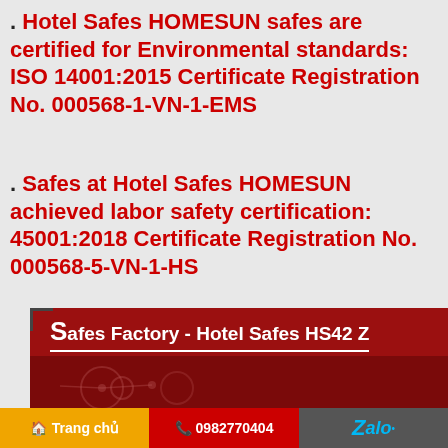. Hotel Safes HOMESUN safes are certified for Environmental standards: ISO 14001:2015 Certificate Registration No. 000568-1-VN-1-EMS
. Safes at Hotel Safes HOMESUN achieved labor safety certification: 45001:2018 Certificate Registration No. 000568-5-VN-1-HS
[Figure (other): Red banner for Safes Factory - Hotel Safes HS42 Z with decorative dark red background and circular design elements]
Trang chủ   0982770404   Zalo